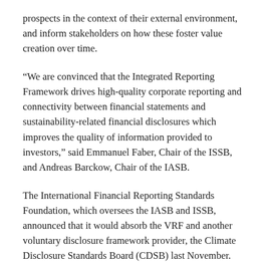prospects in the context of their external environment, and inform stakeholders on how these foster value creation over time.
“We are convinced that the Integrated Reporting Framework drives high-quality corporate reporting and connectivity between financial statements and sustainability-related financial disclosures which improves the quality of information provided to investors,” said Emmanuel Faber, Chair of the ISSB, and Andreas Barckow, Chair of the IASB.
The International Financial Reporting Standards Foundation, which oversees the IASB and ISSB, announced that it would absorb the VRF and another voluntary disclosure framework provider, the Climate Disclosure Standards Board (CDSB) last November.